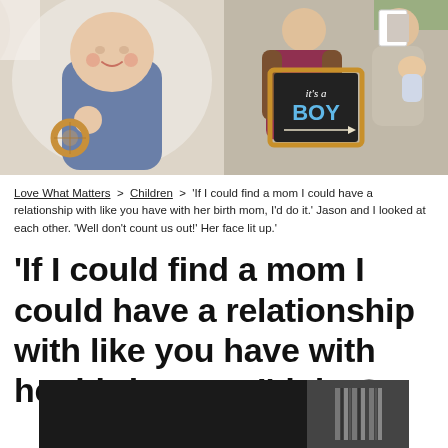[Figure (photo): Two-panel photo strip: left panel shows a baby/toddler in denim outfit holding a wooden toy ring; right panel shows a pregnant woman in maroon dress and brown jacket holding a chalkboard sign reading 'it's a BOY' with another person beside her holding photos.]
Love What Matters > Children > 'If I could find a mom I could have a relationship with like you have with her birth mom, I'd do it.' Jason and I looked at each other. 'Well don't count us out!' Her face lit up.'
'If I could find a mom I could have a relationship with like you have with her birth mom, I'd do
[Figure (other): Black advertisement bar with barcode-style stripes on the right side]